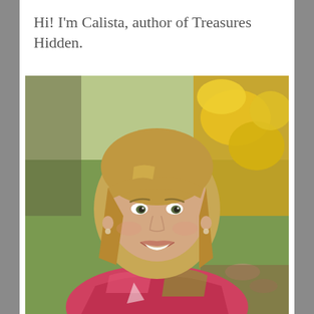Hi! I'm Calista, author of Treasures Hidden.
[Figure (photo): Portrait photo of a smiling woman with blonde shoulder-length hair, wearing a pink and red floral blouse with a necklace, photographed outdoors in front of yellow flowering shrubs and green grass.]